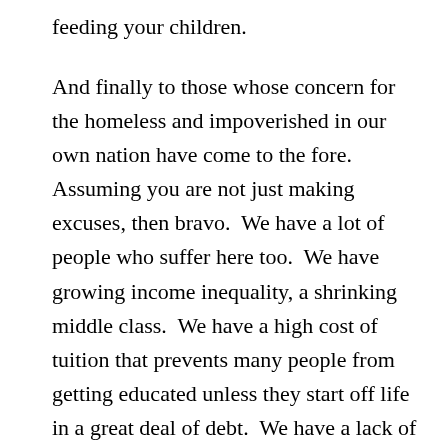feeding your children.
And finally to those whose concern for the homeless and impoverished in our own nation have come to the fore.  Assuming you are not just making excuses, then bravo.  We have a lot of people who suffer here too.  We have growing income inequality, a shrinking middle class.  We have a high cost of tuition that prevents many people from getting educated unless they start off life in a great deal of debt.  We have a lack of sex education, we have a lack of social support for families who need more maternity and paternity leave.  We have disparity in public education K-12, and many states that lack funding, accurate historical textbooks, and are forced to not teach strongly supported scientific theories like